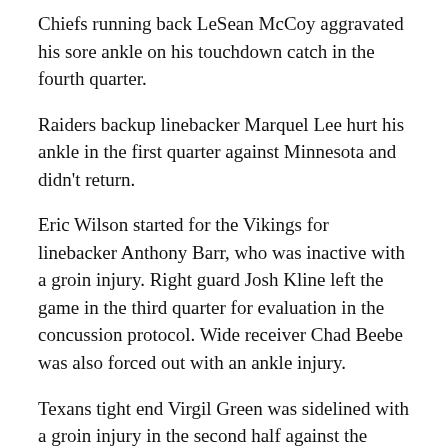Chiefs running back LeSean McCoy aggravated his sore ankle on his touchdown catch in the fourth quarter.
Raiders backup linebacker Marquel Lee hurt his ankle in the first quarter against Minnesota and didn't return.
Eric Wilson started for the Vikings for linebacker Anthony Barr, who was inactive with a groin injury. Right guard Josh Kline left the game in the third quarter for evaluation in the concussion protocol. Wide receiver Chad Beebe was also forced out with an ankle injury.
Texans tight end Virgil Green was sidelined with a groin injury in the second half against the Chargers.
More AP NFL: https://apnews.com/NFL and